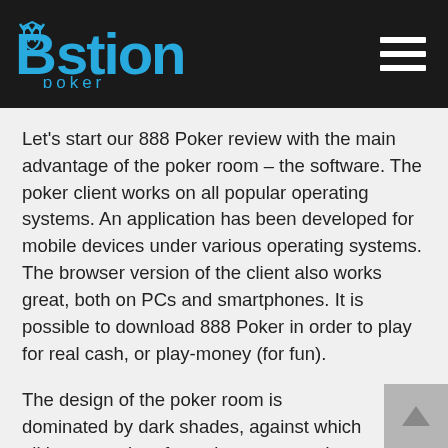Bastion Poker
Let's start our 888 Poker review with the main advantage of the poker room – the software. The poker client works on all popular operating systems. An application has been developed for mobile devices under various operating systems. The browser version of the client also works great, both on PCs and smartphones. It is possible to download 888 Poker in order to play for real cash, or play-money (for fun).
The design of the poker room is dominated by dark shades, against which all important interface elements stand out well, which makes navigation easier. The client is